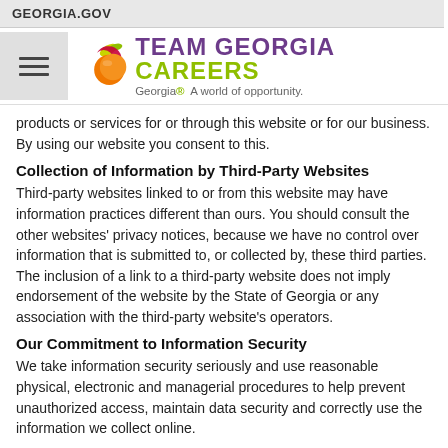GEORGIA.GOV
[Figure (logo): Team Georgia Careers logo with peach graphic. Text reads: TEAM GEORGIA CAREERS. Georgia® A world of opportunity.]
products or services for or through this website or for our business. By using our website you consent to this.
Collection of Information by Third-Party Websites
Third-party websites linked to or from this website may have information practices different than ours. You should consult the other websites' privacy notices, because we have no control over information that is submitted to, or collected by, these third parties. The inclusion of a link to a third-party website does not imply endorsement of the website by the State of Georgia or any association with the third-party website's operators.
Our Commitment to Information Security
We take information security seriously and use reasonable physical, electronic and managerial procedures to help prevent unauthorized access, maintain data security and correctly use the information we collect online.
Changes to This Privacy Notice